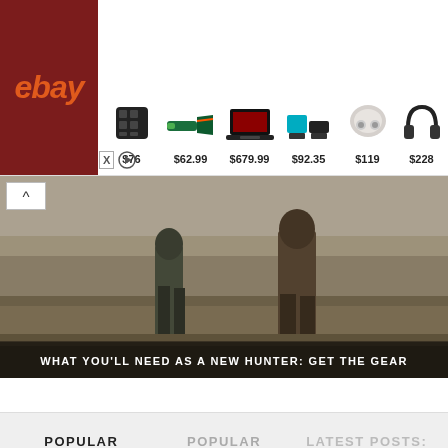[Figure (screenshot): eBay advertisement banner showing product listings: speaker $76, saw $62.99, laptop $679.99, tool kit $92.35, earbuds $119, headphones $228]
[Figure (photo): Two hunters in camouflage walking through a wetland/marsh field with dried grass]
WHAT YOU'LL NEED AS A NEW HUNTER: GET THE GEAR
POPULAR POSTS:
POPULAR REVIEWS:
LATEST POSTS: